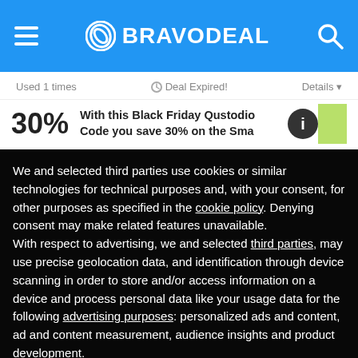BRAVODEAL
Used 1 times   Deal Expired!   Details
30%  With this Black Friday Qustodio Code you save 30% on the Sma
We and selected third parties use cookies or similar technologies for technical purposes and, with your consent, for other purposes as specified in the cookie policy. Denying consent may make related features unavailable.
With respect to advertising, we and selected third parties, may use precise geolocation data, and identification through device scanning in order to store and/or access information on a device and process personal data like your usage data for the following advertising purposes: personalized ads and content, ad and content measurement, audience insights and product development.
You can freely give, deny, or withdraw your consent at any time by accessing the preferences panel.
You can consent to the use of such technologies by using the “OK” button or by continuing to browse otherwise.